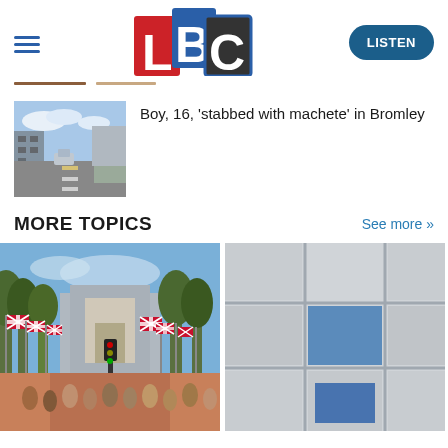LBC | LISTEN
[Figure (screenshot): LBC logo with red L, blue B, black C tiles]
[Figure (photo): Street scene in Bromley, London]
Boy, 16, 'stabbed with machete' in Bromley
MORE TOPICS
See more >>
[Figure (photo): The Mall in London lined with Union Jack flags, crowd of people]
[Figure (photo): Close-up of a modern building facade with blue window panels]